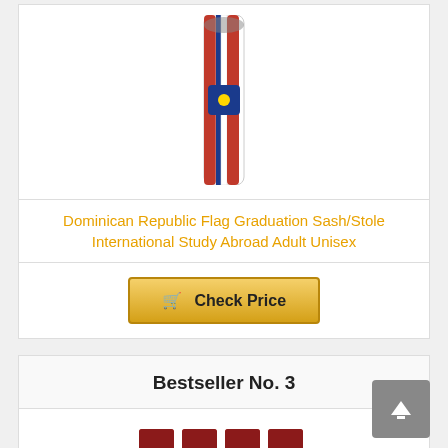[Figure (illustration): Dominican Republic flag graduation sash/stole product image]
Dominican Republic Flag Graduation Sash/Stole International Study Abroad Adult Unisex
Check Price
Bestseller No. 3
[Figure (photo): Four bags of Santo Domingo Coffee 16oz ground coffee]
Santo Domingo Coffee, 16 oz Bag, Ground Coffee – Product from the Dominican Republic... (Pack of 4)